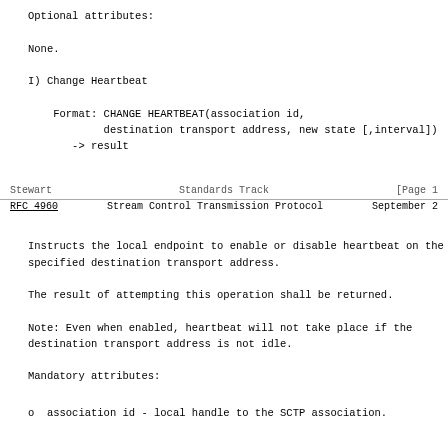Optional attributes:
None.
I) Change Heartbeat
Format: CHANGE HEARTBEAT(association id,
        destination transport address, new state [,interval])
   -> result
Stewart                     Standards Track                    [Page 1
RFC 4960        Stream Control Transmission Protocol     September 2
Instructs the local endpoint to enable or disable heartbeat on the
specified destination transport address.
The result of attempting this operation shall be returned.
Note: Even when enabled, heartbeat will not take place if the
destination transport address is not idle.
Mandatory attributes:
o  association id - local handle to the SCTP association.
o  destination transport address - specified as one of the transpo
   addresses of the peer endpoint.
o  new state - the new state of heartbeat for this destination
   transport address (either enabled or disabled).
Optional attributes: